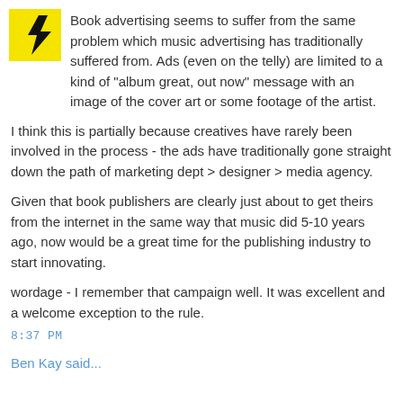[Figure (logo): Yellow square with black lightning bolt symbol]
Book advertising seems to suffer from the same problem which music advertising has traditionally suffered from. Ads (even on the telly) are limited to a kind of "album great, out now" message with an image of the cover art or some footage of the artist.
I think this is partially because creatives have rarely been involved in the process - the ads have traditionally gone straight down the path of marketing dept > designer > media agency.
Given that book publishers are clearly just about to get theirs from the internet in the same way that music did 5-10 years ago, now would be a great time for the publishing industry to start innovating.
wordage - I remember that campaign well. It was excellent and a welcome exception to the rule.
8:37 PM
Ben Kay said...